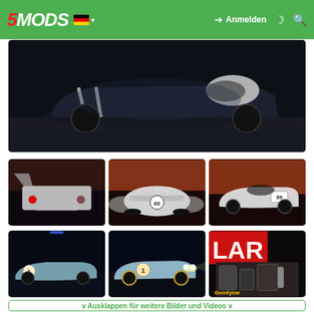5MODS | Anmelden
[Figure (photo): Dark racing car with white stripes on track, side/front view, nighttime scene]
[Figure (photo): Rear view of white racing car with tail lights, dusk/sunset background]
[Figure (photo): Front view of white racing cars numbered 60, sunset orange sky]
[Figure (photo): Side view of white race car numbered 69, sunset background]
[Figure (photo): Light blue racing car numbered 1, rear/side view at night]
[Figure (photo): Light blue racing car numbered 1, side view with headlights on]
[Figure (photo): Close-up of engine/mechanical parts with LAR/Goodyear branding]
∨ Ausklappen für weitere Bilder und Videos ∨